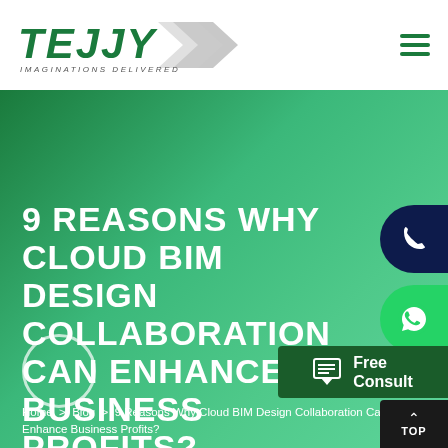[Figure (logo): Tejjy Inc logo with green italic text TEJJY and tagline IMAGINATIONS DELIVERED with silver arrow graphic]
9 REASONS WHY CLOUD BIM DESIGN COLLABORATION CAN ENHANCE BUSINESS PROFITS?
Home > Blog > 9 Reasons Why Cloud BIM Design Collaboration Can Enhance Business Profits?